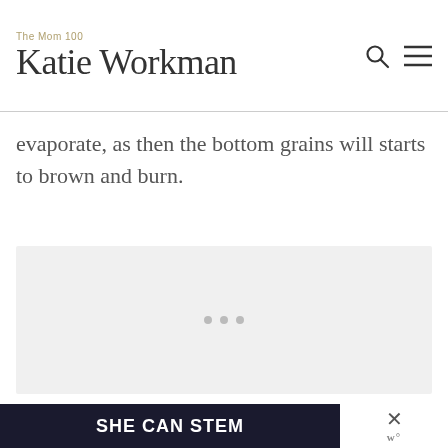The Mom 100 Katie Workman
evaporate, as then the bottom grains will starts to brown and burn.
[Figure (other): Advertisement placeholder with three gray dots centered in a light gray box]
[Figure (other): SHE CAN STEM dark banner advertisement with close button and w° logo]